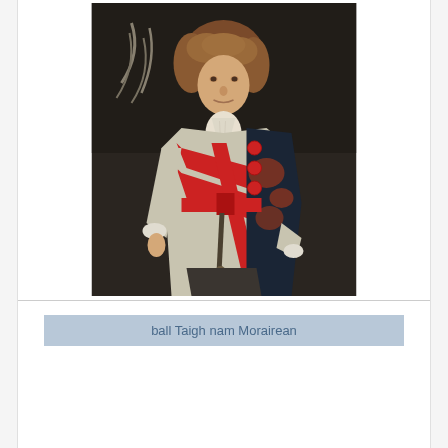[Figure (photo): Portrait painting of a nobleman in 18th century formal dress, wearing a red sash, ornate dark robe with red decorations, white lace cravat and cuffs. He has curly reddish-brown hair and is standing in a formal pose against a dark background.]
ball Taigh nam Morairean